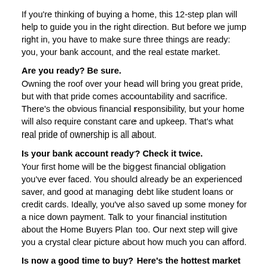If you're thinking of buying a home, this 12-step plan will help to guide you in the right direction. But before we jump right in, you have to make sure three things are ready: you, your bank account, and the real estate market.
Are you ready? Be sure.
Owning the roof over your head will bring you great pride, but with that pride comes accountability and sacrifice. There's the obvious financial responsibility, but your home will also require constant care and upkeep. That's what real pride of ownership is all about.
Is your bank account ready? Check it twice.
Your first home will be the biggest financial obligation you've ever faced. You should already be an experienced saver, and good at managing debt like student loans or credit cards. Ideally, you've also saved up some money for a nice down payment. Talk to your financial institution about the Home Buyers Plan too. Our next step will give you a crystal clear picture about how much you can afford.
Is now a good time to buy? Here's the hottest market tip you'll ever get.
Markets go up, markets go down and even the smartest experts can't accurately predict when a market will peak or bottom out. The good news is, if you're buying a home as a long-term investment (and for long-term enjoyment), you're protected from short-term changes in the market. Over time, real estate has almost always increased in value.